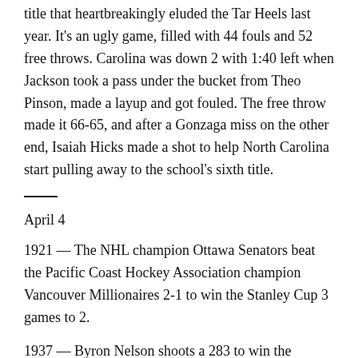title that heartbreakingly eluded the Tar Heels last year. It's an ugly game, filled with 44 fouls and 52 free throws. Carolina was down 2 with 1:40 left when Jackson took a pass under the bucket from Theo Pinson, made a layup and got fouled. The free throw made it 66-65, and after a Gonzaga miss on the other end, Isaiah Hicks made a shot to help North Carolina start pulling away to the school's sixth title.
April 4
1921 — The NHL champion Ottawa Senators beat the Pacific Coast Hockey Association champion Vancouver Millionaires 2-1 to win the Stanley Cup 3 games to 2.
1937 — Byron Nelson shoots a 283 to win the Masters by two strokes over Ralph Guldahl.